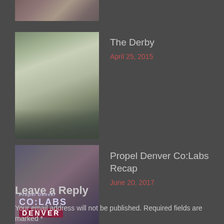[Figure (photo): Partial cropped photo at top of page, partially visible woman in outdoor setting]
[Figure (photo): Photo of woman in white dress outdoors in garden setting]
The Derby
April 25, 2015
[Figure (photo): Photo with Co:Labs Denver branding/sign overlay]
Propel Denver Co:Labs Recap
June 20, 2017
Leave a Reply
Your email address will not be published. Required fields are marked *